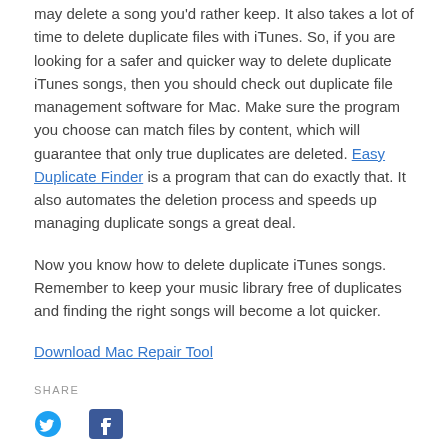may delete a song you'd rather keep. It also takes a lot of time to delete duplicate files with iTunes. So, if you are looking for a safer and quicker way to delete duplicate iTunes songs, then you should check out duplicate file management software for Mac. Make sure the program you choose can match files by content, which will guarantee that only true duplicates are deleted. Easy Duplicate Finder is a program that can do exactly that. It also automates the deletion process and speeds up managing duplicate songs a great deal.
Now you know how to delete duplicate iTunes songs. Remember to keep your music library free of duplicates and finding the right songs will become a lot quicker.
Download Mac Repair Tool
SHARE
[Figure (other): Social media sharing icons: Twitter bird icon and Facebook icon]